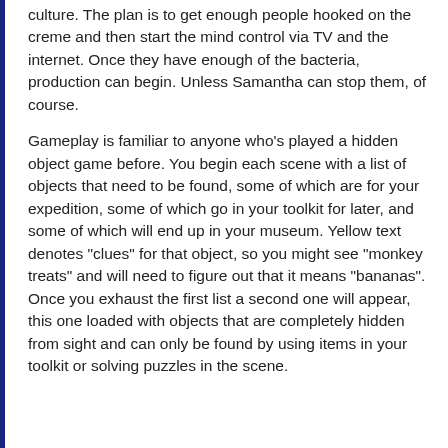culture. The plan is to get enough people hooked on the creme and then start the mind control via TV and the internet. Once they have enough of the bacteria, production can begin. Unless Samantha can stop them, of course.
Gameplay is familiar to anyone who's played a hidden object game before. You begin each scene with a list of objects that need to be found, some of which are for your expedition, some of which go in your toolkit for later, and some of which will end up in your museum. Yellow text denotes "clues" for that object, so you might see "monkey treats" and will need to figure out that it means "bananas". Once you exhaust the first list a second one will appear, this one loaded with objects that are completely hidden from sight and can only be found by using items in your toolkit or solving puzzles in the scene.